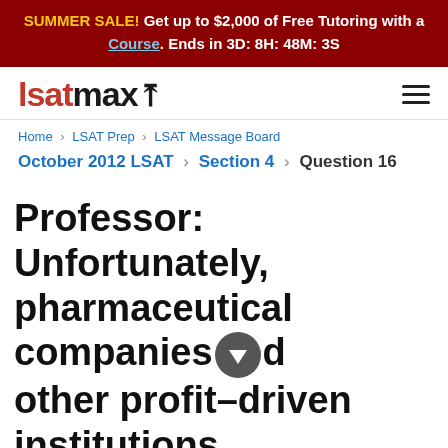SUMMER SALE! Get up to $2,000 of Free Tutoring with a Course. Ends in 3D: 8H: 48M: 3S
[Figure (logo): lsatmax logo with hamburger menu]
Home > LSAT Prep > LSAT Message Board
October 2012 LSAT > Section 4 > Question 16
Professor: Unfortunately, pharmaceutical companies and other profit-driven institutions provide nearly all of the fun...